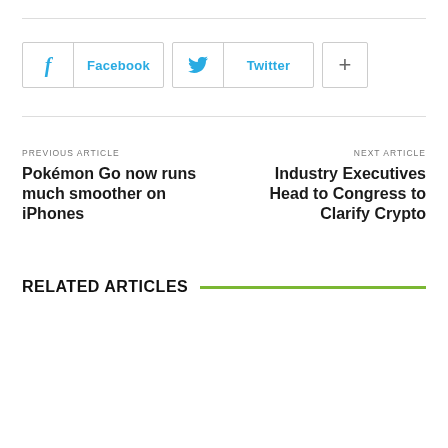[Figure (other): Social sharing buttons: Facebook, Twitter, and a plus/more button]
PREVIOUS ARTICLE
Pokémon Go now runs much smoother on iPhones
NEXT ARTICLE
Industry Executives Head to Congress to Clarify Crypto
RELATED ARTICLES